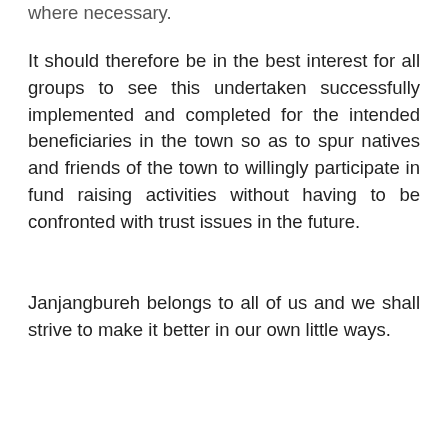where necessary.
It should therefore be in the best interest for all groups to see this undertaken successfully implemented and completed for the intended beneficiaries in the town so as to spur natives and friends of the town to willingly participate in fund raising activities without having to be confronted with trust issues in the future.
Janjangbureh belongs to all of us and we shall strive to make it better in our own little ways.